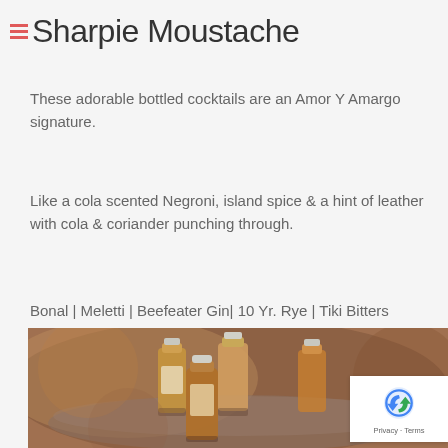Sharpie Moustache
These adorable bottled cocktails are an Amor Y Amargo signature.
Like a cola scented Negroni, island spice & a hint of leather with cola & coriander punching through.
Bonal | Meletti | Beefeater Gin| 10 Yr. Rye | Tiki Bitters
[Figure (photo): Photo of several small bottled cocktails with metal caps arranged in a metallic bowl or tray, warm amber/brown tones, blurred background]